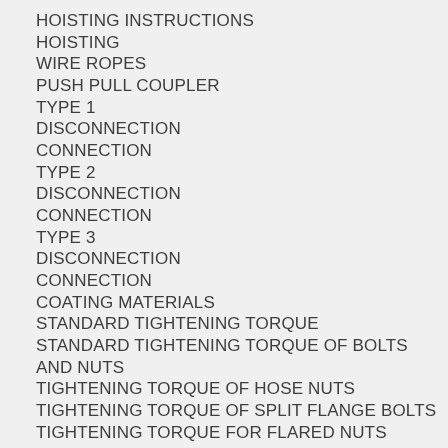HOISTING INSTRUCTIONS
HOISTING
WIRE ROPES
PUSH PULL COUPLER
TYPE 1
DISCONNECTION
CONNECTION
TYPE 2
DISCONNECTION
CONNECTION
TYPE 3
DISCONNECTION
CONNECTION
COATING MATERIALS
STANDARD TIGHTENING TORQUE
STANDARD TIGHTENING TORQUE OF BOLTS AND NUTS
TIGHTENING TORQUE OF HOSE NUTS
TIGHTENING TORQUE OF SPLIT FLANGE BOLTS
TIGHTENING TORQUE FOR FLARED NUTS